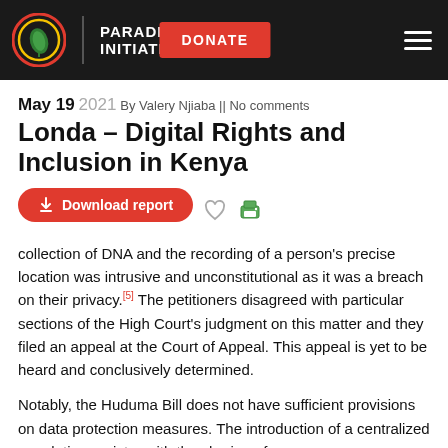PARADIGM INITIATIVE | DONATE
May 19 2021 By Valery Njiaba || No comments
Londa – Digital Rights and Inclusion in Kenya
Download report
collection of DNA and the recording of a person's precise location was intrusive and unconstitutional as it was a breach on their privacy.[5] The petitioners disagreed with particular sections of the High Court's judgment on this matter and they filed an appeal at the Court of Appeal. This appeal is yet to be heard and conclusively determined.
Notably, the Huduma Bill does not have sufficient provisions on data protection measures. The introduction of a centralized population register with the sharing of